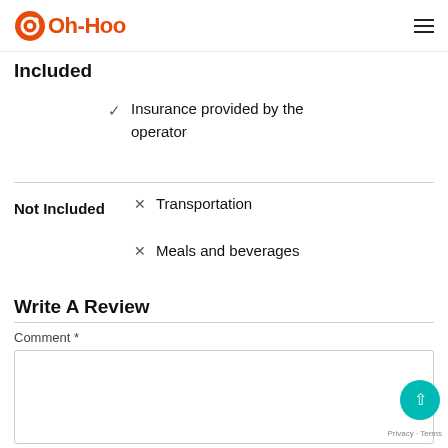Oh-Hoo
Included
Insurance provided by the operator
Not Included
Transportation
Meals and beverages
Write A Review
Comment *